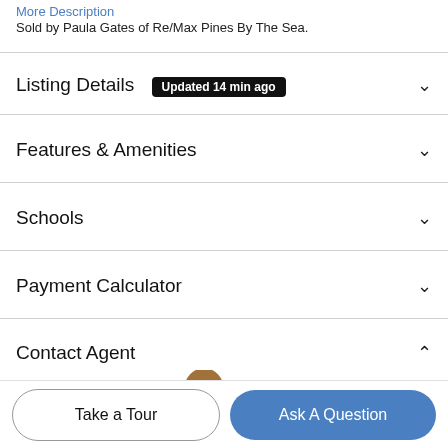More Description
Sold by Paula Gates of Re/Max Pines By The Sea.
Listing Details  Updated 14 min ago
Features & Amenities
Schools
Payment Calculator
Contact Agent
[Figure (photo): Profile photo of agent (woman with long hair)]
Take a Tour
Ask A Question